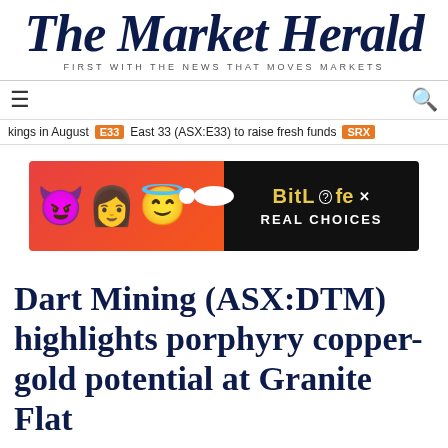The Market Herald
FIRST WITH THE NEWS THAT MOVES MARKETS
≡   🔍
kings in August  E33  East 33 (ASX:E33) to raise fresh funds  SRX
[Figure (illustration): BitLife advertisement banner with emoji characters (devil, person, angel) on red/orange background. Right side has black panel with BitLife logo in yellow and 'REAL CHOICES' in white text.]
Dart Mining (ASX:DTM) highlights porphyry copper-gold potential at Granite Flat
Mining
ASX:DTM   MCAR $16.00M